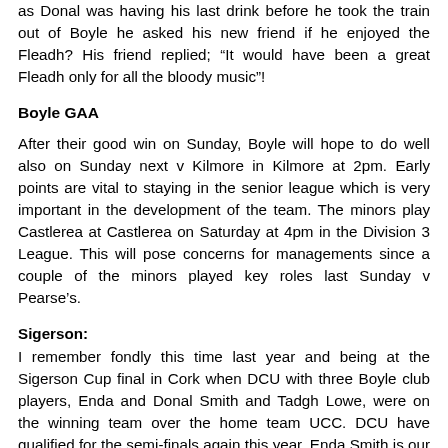as Donal was having his last drink before he took the train out of Boyle he asked his new friend if he enjoyed the Fleadh? His friend replied; “It would have been a great Fleadh only for all the bloody music”!
Boyle GAA
After their good win on Sunday, Boyle will hope to do well also on Sunday next v Kilmore in Kilmore at 2pm. Early points are vital to staying in the senior league which is very important in the development of the team. The minors play Castlerea at Castlerea on Saturday at 4pm in the Division 3 League. This will pose concerns for managements since a couple of the minors played key roles last Sunday v Pearse’s.
Sigerson:
I remember fondly this time last year and being at the Sigerson Cup final in Cork when DCU with three Boyle club players, Enda and Donal Smith and Tadgh Lowe, were on the winning team over the home team UCC. DCU have qualified for the semi-finals again this year. Enda Smith is our sole representative now with DCU...